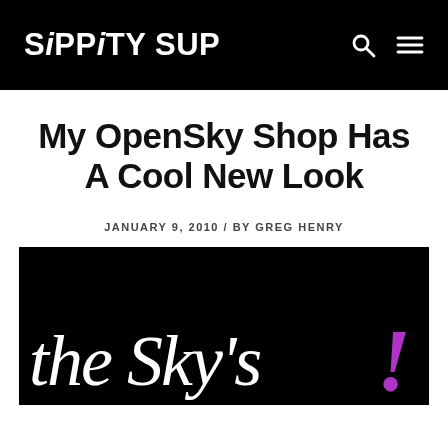SiPPiTY SUP
My OpenSky Shop Has A Cool New Look
JANUARY 9, 2010 / BY GREG HENRY
[Figure (photo): Black background image with white handwritten script text reading 'the Sky's' and a purple exclamation mark, partial view of an OpenSky shop promotional image]